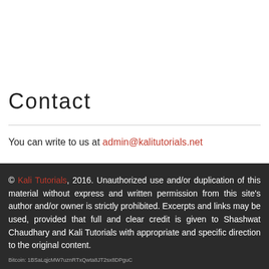Contact
You can write to us at admin@kalitutorials.net
© Kali Tutorials, 2016. Unauthorized use and/or duplication of this material without express and written permission from this site's author and/or owner is strictly prohibited. Excerpts and links may be used, provided that full and clear credit is given to Shashwat Chaudhary and Kali Tutorials with appropriate and specific direction to the original content.
Bitcoin: 1BSaLqjcMW7uznRTxQwta8JT2sx8DPguC